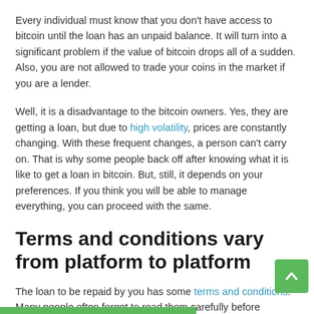Every individual must know that you don't have access to bitcoin until the loan has an unpaid balance. It will turn into a significant problem if the value of bitcoin drops all of a sudden. Also, you are not allowed to trade your coins in the market if you are a lender.
Well, it is a disadvantage to the bitcoin owners. Yes, they are getting a loan, but due to high volatility, prices are constantly changing. With these frequent changes, a person can't carry on. That is why some people back off after knowing what it is like to get a loan in bitcoin. But, still, it depends on your preferences. If you think you will be able to manage everything, you can proceed with the same.
Terms and conditions vary from platform to platform
The loan to be repaid by you has some terms and conditions. Many people often forget to read them carefully before choosing a platform. This irresponsible behavior sometimes causes enormous troubles. If you don't want to put yourself in such a situation, you must understand them carefully.